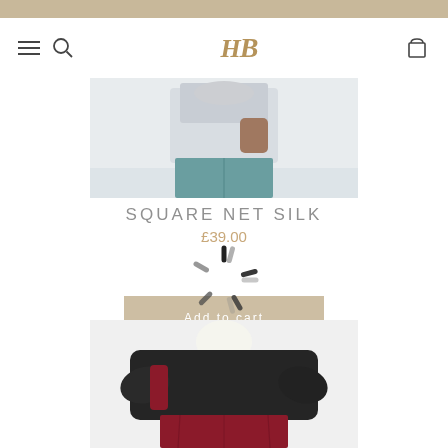[Figure (screenshot): Top decorative bar in beige/tan color]
[Figure (screenshot): Navigation bar with hamburger menu, search icon, HB logo in gold serif italic font, and shopping bag icon]
[Figure (photo): Product photo showing model wearing a light grey/white top with teal/green pants, holding something]
SQUARE NET SILK
£39.00
[Figure (screenshot): Loading spinner overlay with circular dashed lines, overlaid on an Add to Cart button]
[Figure (photo): Product photo showing a mannequin with a cream/white scarf, draped in a dark/black wrap and red/burgundy skirt]